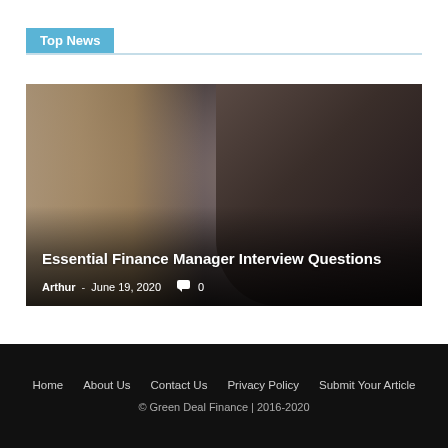Top News
[Figure (photo): A person wearing glasses photographed in low-light/blurred setting, used as the hero image for a finance article]
Essential Finance Manager Interview Questions
Arthur - June 19, 2020  🗨 0
Home  About Us  Contact Us  Privacy Policy  Submit Your Article
© Green Deal Finance | 2016-2020